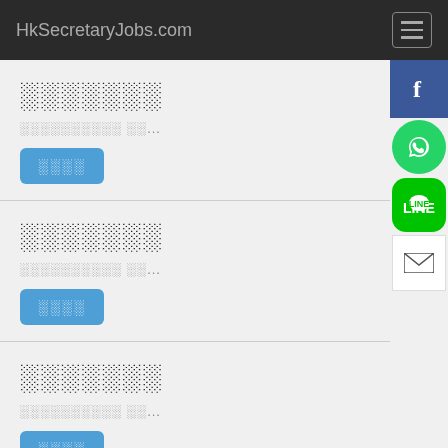HkSecretaryJobs.com
░░░░░░░
░░░░░░░░░░ ░░...
░░░░
░░░░░░░
░░░░░░░░░░ ░░...
░░░░
░░░░░░░
░░░░░░░░░░ ░░...